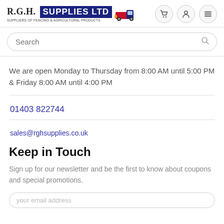R.G.H. SUPPLIES LTD - SUPPLIERS OF FENCING & AGRICULTURAL PRODUCTS
We are open Monday to Thursday from 8:00 AM until 5:00 PM & Friday 8:00 AM until 4:00 PM
01403 822744
sales@rghsupplies.co.uk
Keep in Touch
Sign up for our newsletter and be the first to know about coupons and special promotions.